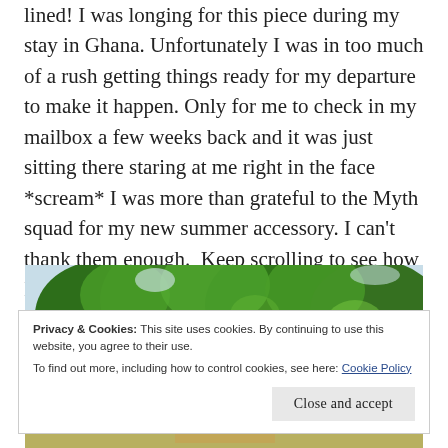lined! I was longing for this piece during my stay in Ghana. Unfortunately I was in too much of a rush getting things ready for my departure to make it happen. Only for me to check in my mailbox a few weeks back and it was just sitting there staring at me right in the face *scream* I was more than grateful to the Myth squad for my new summer accessory. I can't thank them enough.  Keep scrolling to see how I rocked it....
[Figure (photo): Outdoor photo showing green trees with lush foliage against a bright sky, with some urban architecture visible in the background]
Privacy & Cookies: This site uses cookies. By continuing to use this website, you agree to their use.
To find out more, including how to control cookies, see here: Cookie Policy
[Close and accept button]